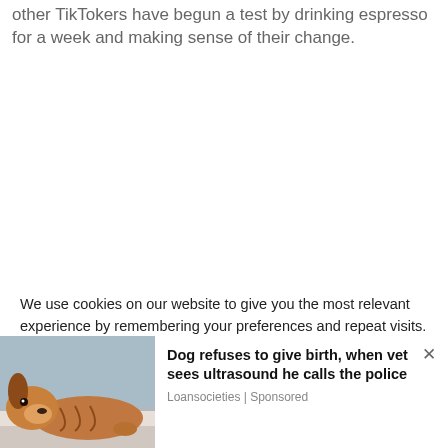other TikTokers have begun a test by drinking espresso for a week and making sense of their change.
We use cookies on our website to give you the most relevant experience by remembering your preferences and repeat visits. By clicking "Accept All", you consent to the use of ALL the cookies. However, you may visit "Cookie Settings" to provide a controlled consent.
[Figure (photo): Photo of a dog lying on what appears to be an examination table, with a blue background]
Dog refuses to give birth, when vet sees ultrasound he calls the police
Loansocieties | Sponsored